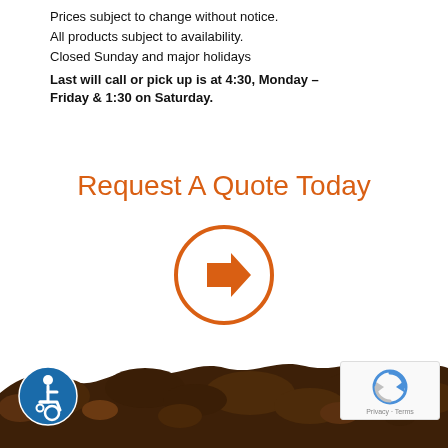Prices subject to change without notice.
All products subject to availability.
Closed Sunday and major holidays
Last will call or pick up is at 4:30, Monday – Friday & 1:30 on Saturday.
Request A Quote Today
[Figure (illustration): Orange circle with right-pointing arrow inside, as a button/link icon]
[Figure (photo): Decorative band of dark soil/dirt across the bottom of the page]
[Figure (logo): Accessibility icon — blue circle with white wheelchair user symbol]
[Figure (other): Google reCAPTCHA badge with spinning arrows logo and Privacy/Terms text]